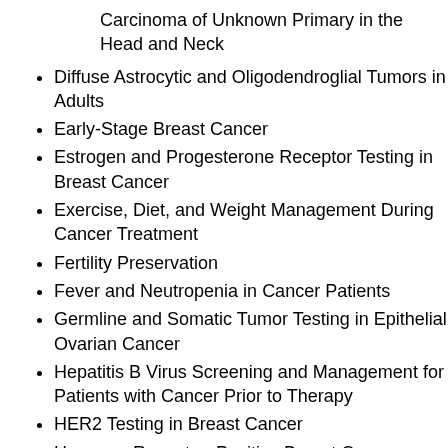Carcinoma of Unknown Primary in the Head and Neck
Diffuse Astrocytic and Oligodendroglial Tumors in Adults
Early-Stage Breast Cancer
Estrogen and Progesterone Receptor Testing in Breast Cancer
Exercise, Diet, and Weight Management During Cancer Treatment
Fertility Preservation
Fever and Neutropenia in Cancer Patients
Germline and Somatic Tumor Testing in Epithelial Ovarian Cancer
Hepatitis B Virus Screening and Management for Patients with Cancer Prior to Therapy
HER2 Testing in Breast Cancer
Hormone Receptor–Positive Breast Cancer Adjuvant Endocrine Therapy
HR-Positive, HER2-Negative Metastatic Breast (partial, cut off)